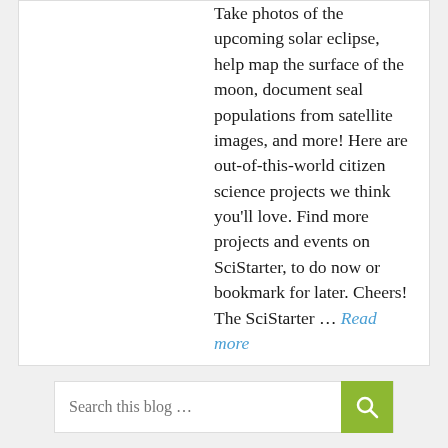Take photos of the upcoming solar eclipse, help map the surface of the moon, document seal populations from satellite images, and more! Here are out-of-this-world citizen science projects we think you'll love. Find more projects and events on SciStarter, to do now or bookmark for later. Cheers! The SciStarter … Read more
Categories: Citizen Science, Newsletter